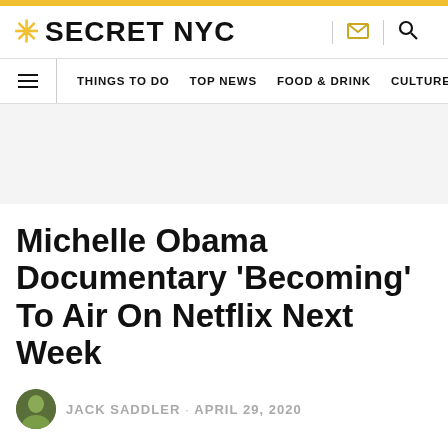SECRET NYC
THINGS TO DO · TOP NEWS · FOOD & DRINK · CULTURE
Michelle Obama Documentary 'Becoming' To Air On Netflix Next Week
JACK SADDLER · APRIL 29, 2020